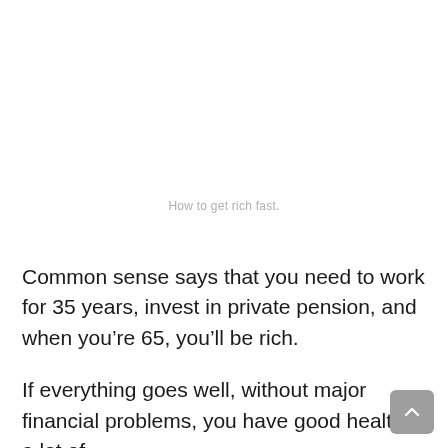How to get rich fast.
Common sense says that you need to work for 35 years, invest in private pension, and when you’re 65, you’ll be rich.
If everything goes well, without major financial problems, you have good health, a lot of